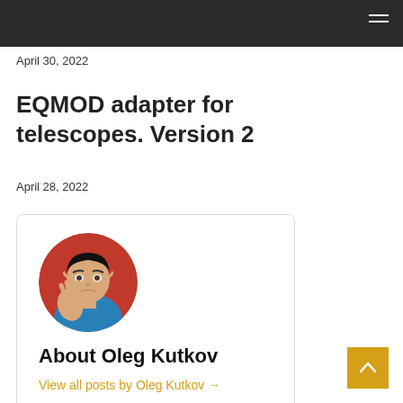April 30, 2022
EQMOD adapter for telescopes. Version 2
April 28, 2022
[Figure (photo): Author card with circular photo of Spock from Star Trek giving Vulcan salute, with heading 'About Oleg Kutkov' and link 'View all posts by Oleg Kutkov →']